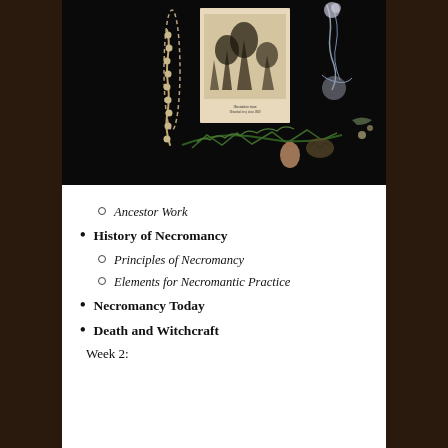[Figure (photo): Flat lay photograph on black background showing a beaded necklace or chain, an antique botanical/woodcut illustration on cream paper, dried herbs or flowers, and decorative botanical elements including pine sprigs and seed pods]
Ancestor Work
History of Necromancy
Principles of Necromancy
Elements for Necromantic Practice
Necromancy Today
Death and Witchcraft
Week 2: